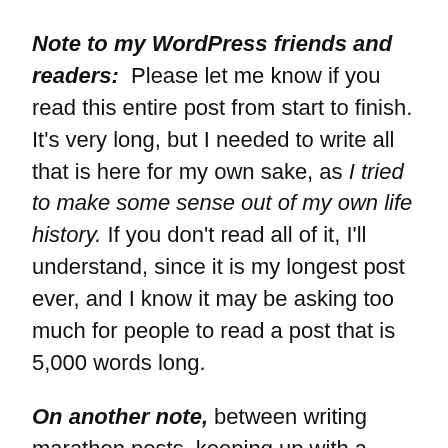Note to my WordPress friends and readers: Please let me know if you read this entire post from start to finish. It's very long, but I needed to write all that is here for my own sake, as I tried to make some sense out of my own life history. If you don't read all of it, I'll understand, since it is my longest post ever, and I know it may be asking too much for people to read a post that is 5,000 words long.
On another note, between writing marathon posts, keeping up with a personal life that has been very hectic lately, and keeping my promise to my wife that I'll continue to spend lots of time with her when we both have the time available, I've been having a hard time finding the time to read and comment on your posts. But this will change today, because I want to catch up with all of you, since your writing is very good, and I really want to show my